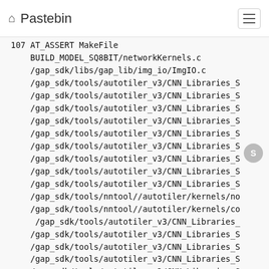Pastebin
BUILD_MODEL_SQ8BIT/networkKernels.c
/gap_sdk/libs/gap_lib/img_io/ImgIO.c
/gap_sdk/tools/autotiler_v3/CNN_Libraries_S
/gap_sdk/tools/autotiler_v3/CNN_Libraries_S
/gap_sdk/tools/autotiler_v3/CNN_Libraries_S
/gap_sdk/tools/autotiler_v3/CNN_Libraries_S
/gap_sdk/tools/autotiler_v3/CNN_Libraries_S
/gap_sdk/tools/autotiler_v3/CNN_Libraries_S
/gap_sdk/tools/autotiler_v3/CNN_Libraries_S
/gap_sdk/tools/autotiler_v3/CNN_Libraries_S
/gap_sdk/tools/autotiler_v3/CNN_Libraries_S
/gap_sdk/tools/nntool//autotiler/kernels/no
/gap_sdk/tools/nntool//autotiler/kernels/co
 /gap_sdk/tools/autotiler_v3/CNN_Libraries_
/gap_sdk/tools/autotiler_v3/CNN_Libraries_S
/gap_sdk/tools/autotiler_v3/CNN_Libraries_S
/gap_sdk/tools/autotiler_v3/CNN_Libraries_S
/gap_sdk/tools/autotiler_v3/CNN_Libraries_S
/gap_sdk/tools/autotiler_v3/CNN_Libraries_S
/gap_sdk/tools/autotiler_v3/CNN_Libraries_S
/gap_sdk/tools/autotiler_v3/CNN_Libraries_S
/gap_sdk/tools/autotiler_v3/CNN_Libraries_S
/gap_sdk/tools/nntool//autotiler/kernels/no
/gap_sdk/tools/nntool//autotiler/kernels/